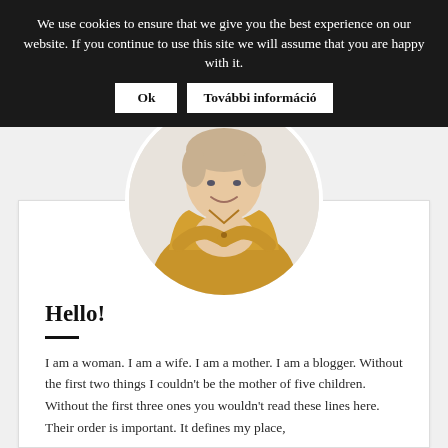We use cookies to ensure that we give you the best experience on our website. If you continue to use this site we will assume that you are happy with it.
Ok
További információ
[Figure (photo): Round cropped profile photo of a woman wearing a yellow shirt, sitting with arms crossed, smiling, short hair, light background.]
Hello!
I am a woman. I am a wife. I am a mother. I am a blogger. Without the first two things I couldn't be the mother of five children. Without the first three ones you wouldn't read these lines here. Their order is important. It defines my place,